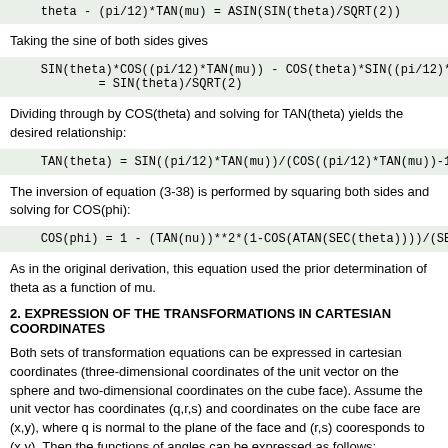Taking the sine of both sides gives
Dividing through by COS(theta) and solving for TAN(theta) yields the desired relationship:
The inversion of equation (3-38) is performed by squaring both sides and solving for COS(phi):
As in the original derivation, this equation used the prior determination of theta as a function of mu.
2. EXPRESSION OF THE TRANSFORMATIONS IN CARTESIAN COORDINATES
Both sets of transformation equations can be expressed in cartesian coordinates (three-dimensional coordinates of the unit vector on the sphere and two-dimensional coordinates on the cube face). Assume the unit vector has coordinates (q,r,s) and coordinates on the cube face are (x,y), where q is normal to the plane of the face and (r,s) cooresponds to (x,y). Then the functions of angles can be expressed as follows: